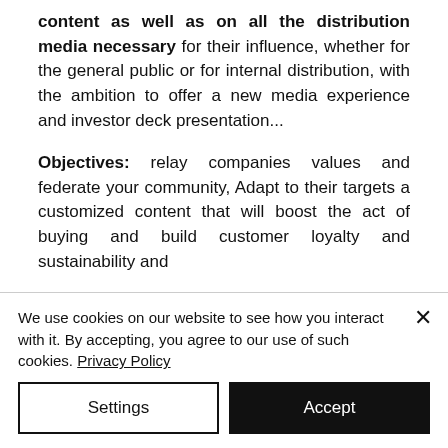content as well as on all the distribution media necessary for their influence, whether for the general public or for internal distribution, with the ambition to offer a new media experience and investor deck presentation...
Objectives: relay companies values and federate your community, Adapt to their targets a customized content that will boost the act of buying and build customer loyalty and sustainability and
We use cookies on our website to see how you interact with it. By accepting, you agree to our use of such cookies. Privacy Policy
Settings
Accept